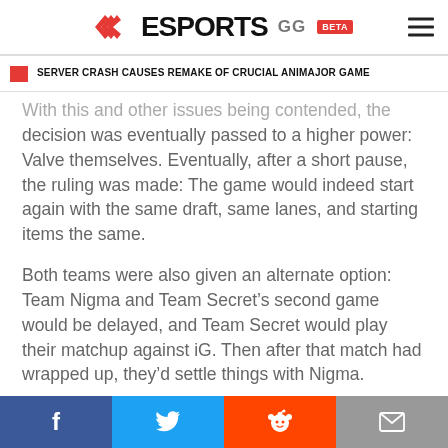ESPORTS.GG BETA
SERVER CRASH CAUSES REMAKE OF CRUCIAL ANIMAJOR GAME
With this and other issues being contended, the decision was eventually passed to a higher power: Valve themselves. Eventually, after a short pause, the ruling was made: The game would indeed start again with the same draft, same lanes, and starting items the same.
Both teams were also given an alternate option: Team Nigma and Team Secret’s second game would be delayed, and Team Secret would play their matchup against iG. Then after that match had wrapped up, they’d settle things with Nigma.
Facebook | Twitter | Reddit | Email